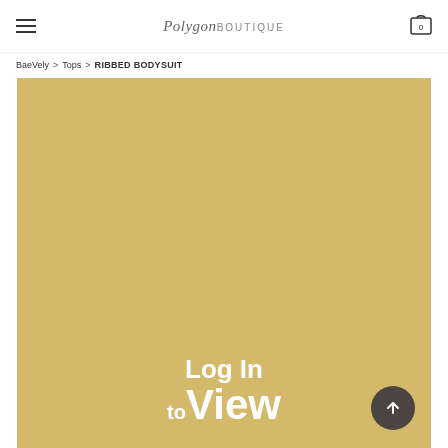Polygon Boutique – navigation header with hamburger menu, logo, and cart icon (0 items)
BaeVely > Tops > RIBBED BODYSUIT
[Figure (photo): Golden/tan colored product image placeholder with 'Log In to View' overlay text in white bold letters, and a dark circular scroll-to-top arrow button in the bottom-right corner]